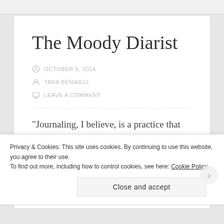The Moody Diarist
OCTOBER 6, 2014
TARA BENWELL
LEAVE A COMMENT
“Journaling, I believe, is a practice that teaches us better than any other the elusive art of solitude —
Privacy & Cookies: This site uses cookies. By continuing to use this website, you agree to their use.
To find out more, including how to control cookies, see here: Cookie Policy
Close and accept